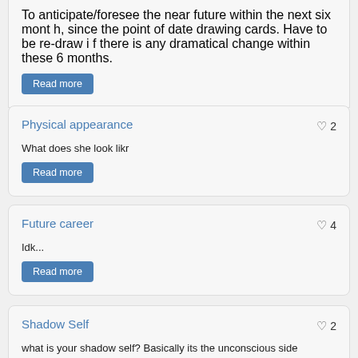To anticipate/foresee the near future within the next six month, since the point of date drawing cards. Have to be re-draw if there is any dramatical change within these 6 months.
Read more
Physical appearance
2
What does she look likr
Read more
Future career
4
Idk...
Read more
Shadow Self
2
what is your shadow self? Basically its the unconscious side